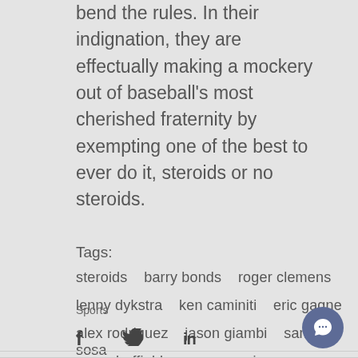bend the rules. In their indignation, they are effectually making a mockery out of baseball's most cherished fraternity by exempting one of the best to ever do it, steroids or no steroids.
Tags:
steroids  barry bonds  roger clemens
lenny dykstra  ken caminiti  eric gagne
alex rodriguez  jason giambi  sammy sosa
gary sheffield  manny ramirez
Sports
[Figure (infographic): Social media sharing icons: Facebook (f), Twitter (bird), LinkedIn (in), and a chat bubble button on the right]